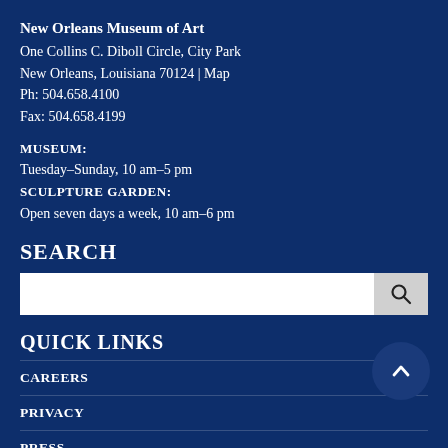New Orleans Museum of Art
One Collins C. Diboll Circle, City Park
New Orleans, Louisiana 70124 | Map
Ph: 504.658.4100
Fax: 504.658.4199
MUSEUM:
Tuesday–Sunday, 10 am–5 pm
SCULPTURE GARDEN:
Open seven days a week, 10 am–6 pm
SEARCH
QUICK LINKS
CAREERS
PRIVACY
PRESS
NOMA STORIES